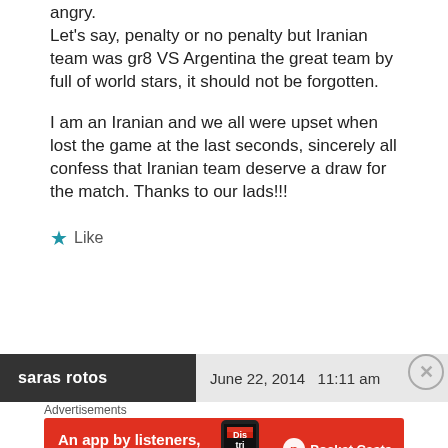angry.
Let's say, penalty or no penalty but Iranian team was gr8 VS Argentina the great team by full of world stars, it should not be forgotten.
I am an Iranian and we all were upset when lost the game at the last seconds, sincerely all confess that Iranian team deserve a draw for the match. Thanks to our lads!!!
★ Like
saras rotos   June 22, 2014  11:11 am
Advertisements
[Figure (screenshot): Red advertisement banner for Pocket Casts app reading 'An app by listeners, for listeners.' with phone graphic and Pocket Casts logo]